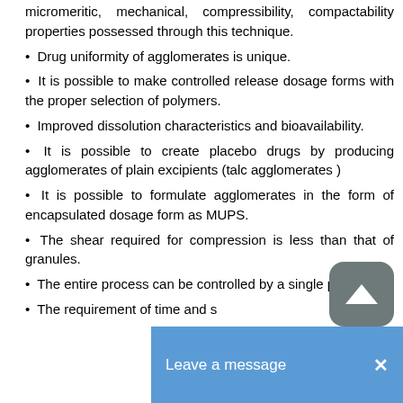micromeritic, mechanical, compressibility, compactability properties possessed through this technique.
Drug uniformity of agglomerates is unique.
It is possible to make controlled release dosage forms with the proper selection of polymers.
Improved dissolution characteristics and bioavailability.
It is possible to create placebo drugs by producing agglomerates of plain excipients (talc agglomerates )
It is possible to formulate agglomerates in the form of encapsulated dosage form as MUPS.
The shear required for compression is less than that of granules.
The entire process can be controlled by a single p…
The requirement of time and s…